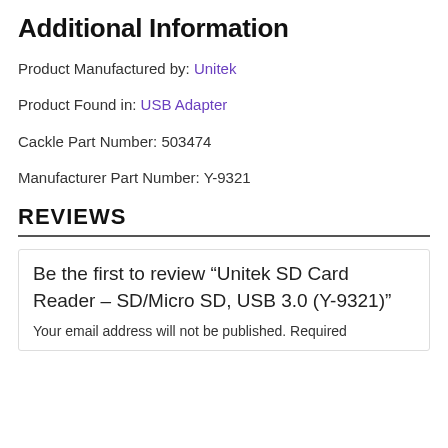Additional Information
Product Manufactured by: Unitek
Product Found in: USB Adapter
Cackle Part Number: 503474
Manufacturer Part Number: Y-9321
REVIEWS
Be the first to review “Unitek SD Card Reader – SD/Micro SD, USB 3.0 (Y-9321)”
Your email address will not be published. Required